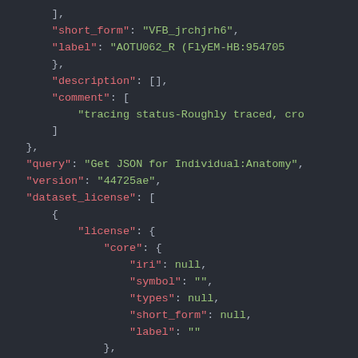JSON code snippet showing fields: short_form, label, description, comment, query, version, dataset_license with nested license/core object containing iri, symbol, types, short_form, label fields, and icon